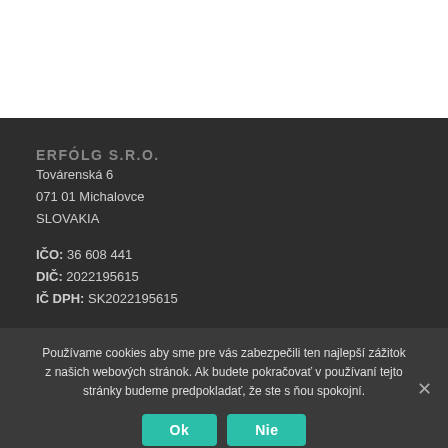ERFÓLG S.R.O.
Továrenská 6
071 01 Michalovce
SLOVAKIA
IČO: 36 608 441
DIČ: 2022195615
IČ DPH: SK2022195615
Používame cookies aby sme pre vás zabezpečili ten najlepší zážitok z našich webových stránok. Ak budete pokračovať v používaní tejto stránky budeme predpokladať, že ste s ňou spokojní.